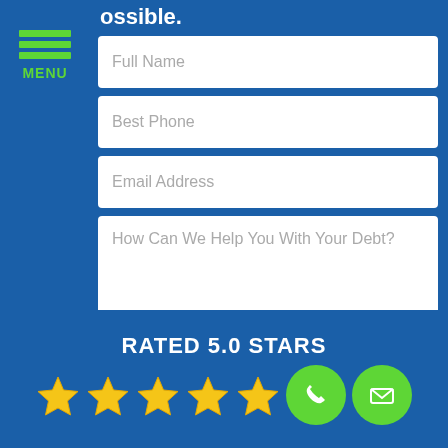[Figure (screenshot): Navigation menu icon with three green horizontal lines and MENU label in green on blue background]
ossible.
Full Name
Best Phone
Email Address
How Can We Help You With Your Debt?
SUBMIT MY REQUEST
RATED 5.0 STARS
[Figure (illustration): Five gold stars rating icons]